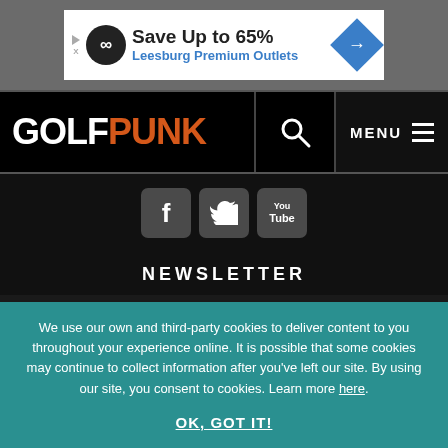[Figure (screenshot): Advertisement banner: Save Up to 65% Leesburg Premium Outlets]
GOLFPUNK — navigation bar with GOLF PUNK logo, search icon, and MENU
[Figure (infographic): Social media icons: Facebook, Twitter, YouTube]
NEWSLETTER
YOUR EMAIL ADDRESS
SUBMIT
We use our own and third-party cookies to deliver content to you throughout your experience online. It is possible that some cookies may continue to collect information after you've left our site. By using our site, you consent to cookies. Learn more here.
OK, GOT IT!